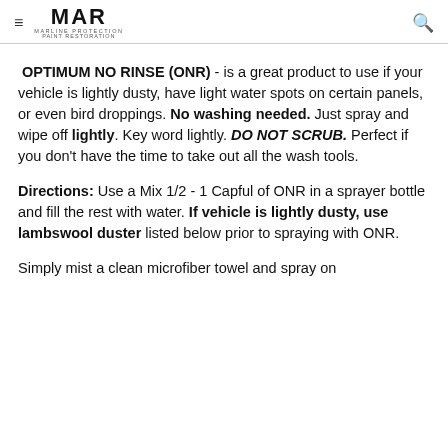MAR — Marline Protection Paint Restoration
OPTIMUM NO RINSE (ONR) - is a great product to use if your vehicle is lightly dusty, have light water spots on certain panels, or even bird droppings. No washing needed. Just spray and wipe off lightly. Key word lightly. DO NOT SCRUB. Perfect if you don't have the time to take out all the wash tools.
Directions: Use a Mix 1/2 - 1 Capful of ONR in a sprayer bottle and fill the rest with water. If vehicle is lightly dusty, use lambswool duster listed below prior to spraying with ONR.
Simply mist a clean microfiber towel and spray on